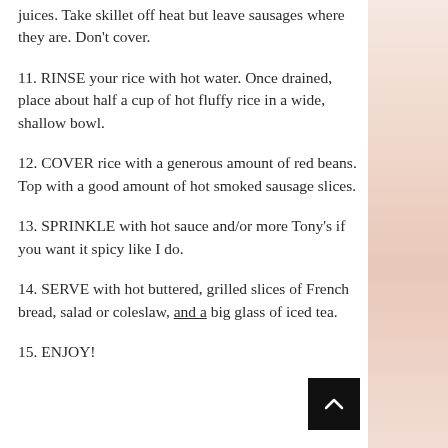juices. Take skillet off heat but leave sausages where they are.  Don't cover.
11.  RINSE your rice with hot water. Once drained, place about half a cup of hot fluffy rice in a wide, shallow bowl.
12.  COVER rice with a generous amount of red beans. Top with a good amount of hot smoked sausage slices.
13.  SPRINKLE with hot sauce and/or more Tony's if you want it spicy like I do.
14.  SERVE with hot buttered, grilled slices of French bread, salad or coleslaw, and a big glass of iced tea.
15.  ENJOY!